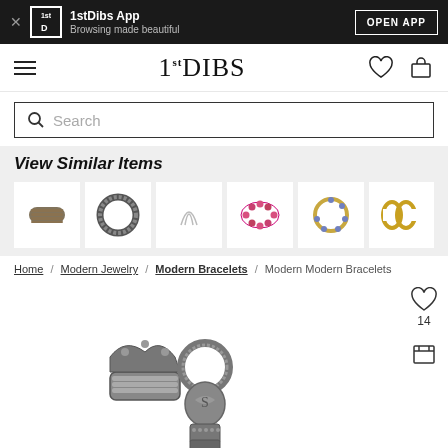1stDibs App — Browsing made beautiful — OPEN APP
1stDIBS navigation with hamburger menu, heart icon, cart icon
Search
View Similar Items
[Figure (photo): Row of 6 similar jewelry bracelet items shown as thumbnail photos]
Home / Modern Jewelry / Modern Bracelets / Modern Modern Bracelets
[Figure (photo): Silver ornate bracelet with decorative clasp and scrollwork detail, partially visible]
14